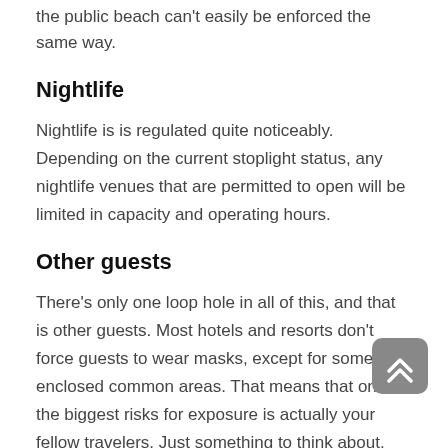the public beach can't easily be enforced the same way.
Nightlife
Nightlife is is regulated quite noticeably. Depending on the current stoplight status, any nightlife venues that are permitted to open will be limited in capacity and operating hours.
Other guests
There's only one loop hole in all of this, and that is other guests. Most hotels and resorts don't force guests to wear masks, except for some enclosed common areas. That means that one of the biggest risks for exposure is actually your fellow travelers. Just something to think about.
Offers & Promotions